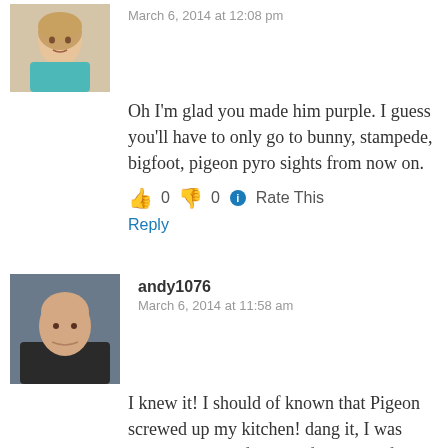[Figure (photo): Avatar photo of a woman in a teal top, cropped at top]
March 6, 2014 at 12:08 pm
Oh I'm glad you made him purple. I guess you'll have to only go to bunny, stampede, bigfoot, pigeon pyro sights from now on.
👍 0 👎 0 ℹ Rate This
Reply
[Figure (photo): Avatar photo of a bald man in a dark jacket]
andy1076
March 6, 2014 at 11:58 am
I knew it! I should of known that Pigeon screwed up my kitchen! dang it, I was making roast before that fire! now, if I could get that toaster back from that dog mmmm...